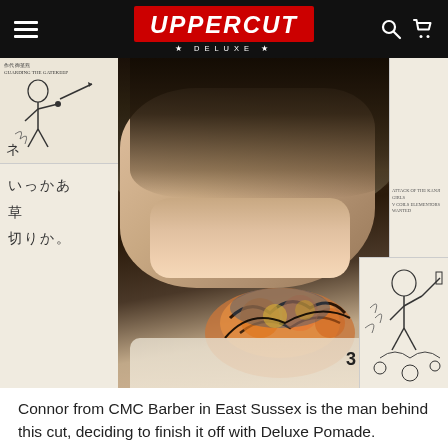UPPERCUT DELUXE
[Figure (photo): Back view of a man's head showing a side-parted slick-back haircut with a skin fade and a large colorful tiger tattoo on the neck. The image has decorative manga-style comic panels on the left and right sides with Japanese text and illustrated figures. A number '3' appears in the lower right of the image.]
Connor from CMC Barber in East Sussex is the man behind this cut, deciding to finish it off with Deluxe Pomade.